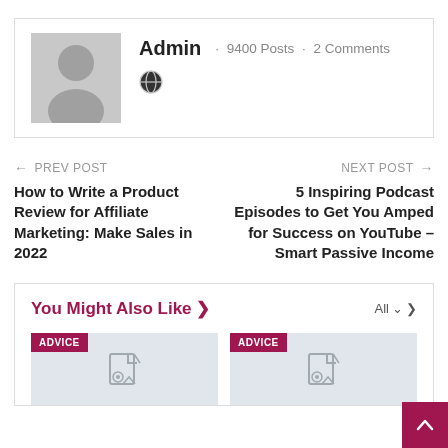[Figure (illustration): Author profile box with avatar placeholder (grey silhouette), name Admin, 9400 Posts, 2 Comments, and a globe/link icon]
Admin · 9400 Posts · 2 Comments
← PREV POST
How to Write a Product Review for Affiliate Marketing: Make Sales in 2022
NEXT POST →
5 Inspiring Podcast Episodes to Get You Amped for Success on YouTube – Smart Passive Income
You Might Also Like ❯
All ∨ ❯
[Figure (illustration): Card with ADVICE badge and document/image placeholder icon on grey background]
[Figure (illustration): Card with ADVICE badge and document/image placeholder icon on grey background]